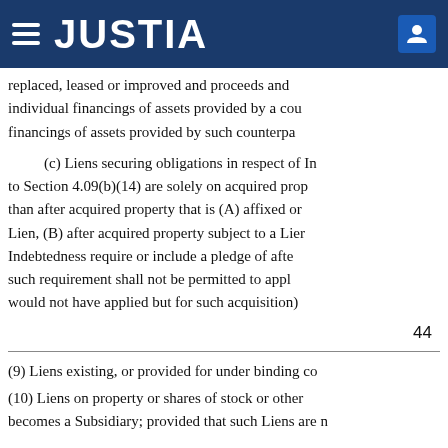JUSTIA
replaced, leased or improved and proceeds and individual financings of assets provided by a cou financings of assets provided by such counterpa
(c) Liens securing obligations in respect of In to Section 4.09(b)(14) are solely on acquired prop than after acquired property that is (A) affixed or Lien, (B) after acquired property subject to a Lien Indebtedness require or include a pledge of afte such requirement shall not be permitted to appl would not have applied but for such acquisition)
44
(9) Liens existing, or provided for under binding co
(10) Liens on property or shares of stock or other becomes a Subsidiary; provided that such Liens are n